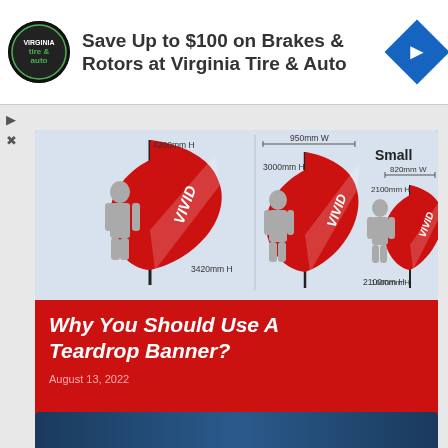[Figure (infographic): Advertisement banner for Virginia Tire & Auto: Save Up to $100 on Brakes & Rotors at Virginia Tire & Auto, with circular logo and blue diamond direction icon]
[Figure (infographic): Diagram showing three sizes of teardrop banners (VIVID branded) with dimensions: Large 4200mm H / 3420mm H, Medium 3000mm H / 2100mm H (950mm W), Small 2100mm H / 1600mm H (820mm W)]
Why You Should Use A Teardrop Banner?
August 13, 2022